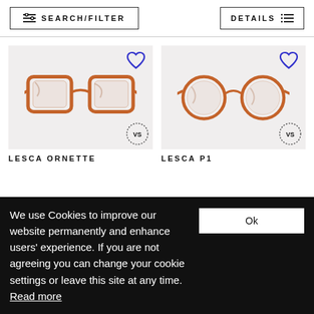SEARCH/FILTER | DETAILS
[Figure (photo): Lesca Ornette glasses product photo with heart/wishlist icon and VS badge]
[Figure (photo): Lesca P1 glasses product photo with heart/wishlist icon and VS badge]
LESCA ORNETTE
LESCA P1
We use Cookies to improve our website permanently and enhance users' experience. If you are not agreeing you can change your cookie settings or leave this site at any time. Read more